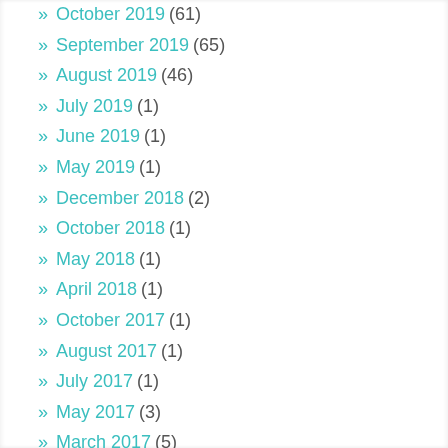» October 2019 (61)
» September 2019 (65)
» August 2019 (46)
» July 2019 (1)
» June 2019 (1)
» May 2019 (1)
» December 2018 (2)
» October 2018 (1)
» May 2018 (1)
» April 2018 (1)
» October 2017 (1)
» August 2017 (1)
» July 2017 (1)
» May 2017 (3)
» March 2017 (5)
» February 2017 (4)